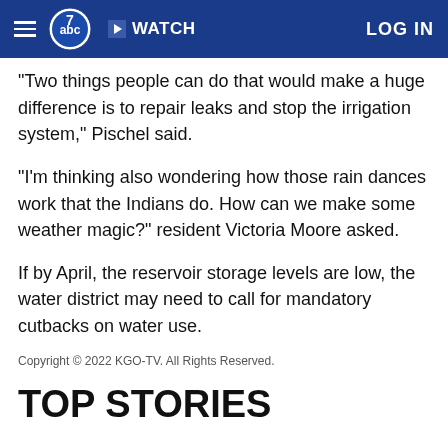ABC7 | WATCH | LOG IN
"Two things people can do that would make a huge difference is to repair leaks and stop the irrigation system," Pischel said.
"I'm thinking also wondering how those rain dances work that the Indians do. How can we make some weather magic?" resident Victoria Moore asked.
If by April, the reservoir storage levels are low, the water district may need to call for mandatory cutbacks on water use.
Copyright © 2022 KGO-TV. All Rights Reserved.
TOP STORIES